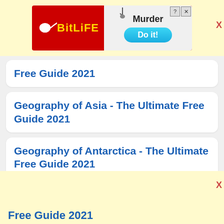[Figure (screenshot): BitLife mobile app advertisement banner showing BitLife logo with sperm icon on red background, 'Murder' text and 'Do it!' button on light background, with close/help icons]
Free Guide 2021
Geography of Asia - The Ultimate Free Guide 2021
Geography of Antarctica - The Ultimate Free Guide 2021
Free Guide 2021